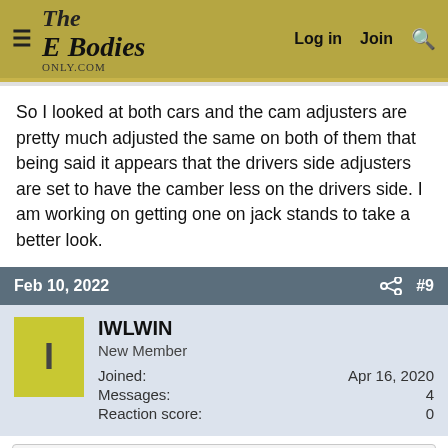The E Bodies Only Forum — Log in  Join  Search
So I looked at both cars and the cam adjusters are pretty much adjusted the same on both of them that being said it appears that the drivers side adjusters are set to have the camber less on the drivers side. I am working on getting one on jack stands to take a better look.
Feb 10, 2022  #9
IWLWIN
New Member
Joined: Apr 16, 2020
Messages: 4
Reaction score: 0
moparleo said:
Only the motor mounts on the K-frame were offset on Mopars.
Since there is no separate chassis it is likely that the car was in an accident sometime in the past. You can take the car to a reputable alignment shop,